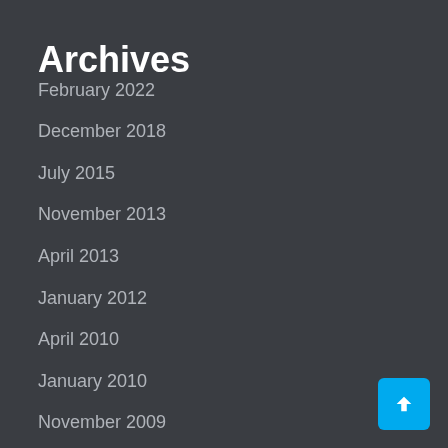Archives
February 2022
December 2018
July 2015
November 2013
April 2013
January 2012
April 2010
January 2010
November 2009
May 2009